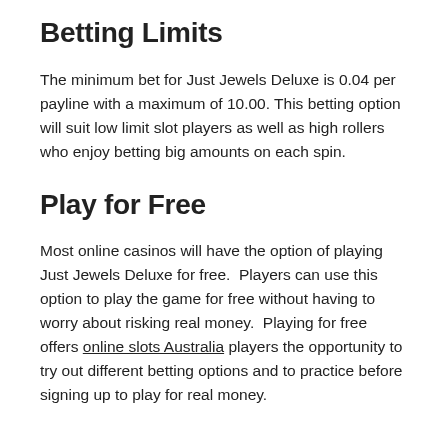Betting Limits
The minimum bet for Just Jewels Deluxe is 0.04 per payline with a maximum of 10.00. This betting option will suit low limit slot players as well as high rollers who enjoy betting big amounts on each spin.
Play for Free
Most online casinos will have the option of playing Just Jewels Deluxe for free.  Players can use this option to play the game for free without having to worry about risking real money.  Playing for free offers online slots Australia players the opportunity to try out different betting options and to practice before signing up to play for real money.